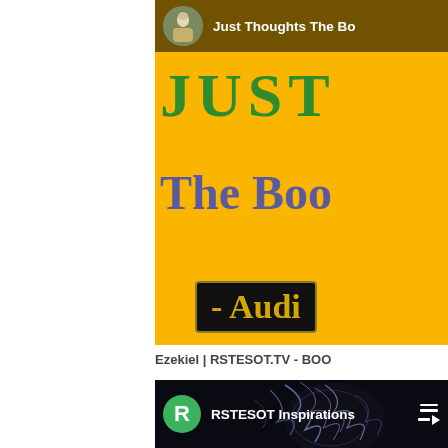[Figure (screenshot): YouTube video card for 'Just Thoughts The Bo...' channel showing a yellow book cover with green text 'JUST', purple text 'The Boo', and a black/gold badge reading '- Audi'. Channel avatar shows a religious figure illustration.]
Ezekiel | RSTESOT.TV - BOO...
[Figure (screenshot): YouTube video card for 'RSTESOT Inspirations' channel. Black background with lightning/electric skull imagery. Green avatar circle with letter R. Playlist icon visible in top right.]